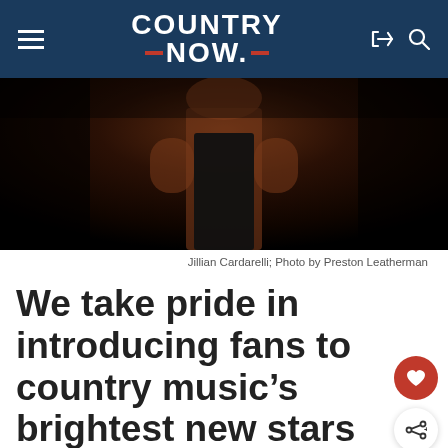COUNTRY NOW
[Figure (photo): Jillian Cardarelli in a black outfit against a dark background]
Jillian Cardarelli; Photo by Preston Leatherman
We take pride in introducing fans to country music's brightest new stars through our Country Next series. Here, we chat with Jillian Cardarelli.